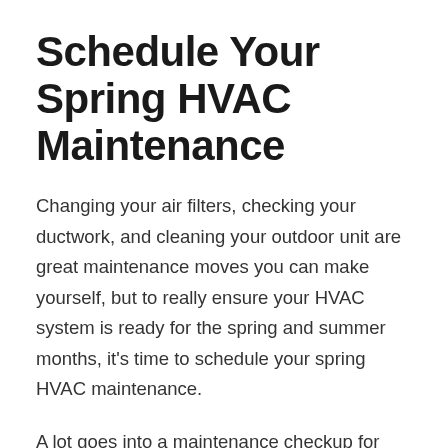Schedule Your Spring HVAC Maintenance
Changing your air filters, checking your ductwork, and cleaning your outdoor unit are great maintenance moves you can make yourself, but to really ensure your HVAC system is ready for the spring and summer months, it’s time to schedule your spring HVAC maintenance.
A lot goes into a maintenance checkup for your cooling system to ensure yours